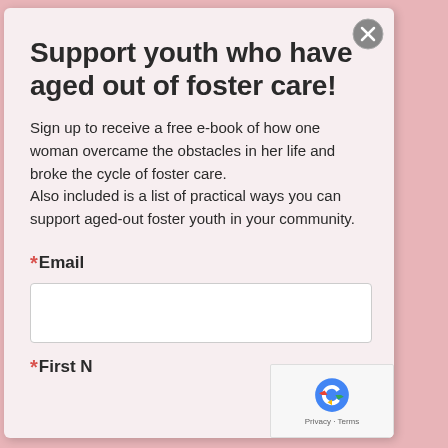Support youth who have aged out of foster care!
Sign up to receive a free e-book of how one woman overcame the obstacles in her life and broke the cycle of foster care. Also included is a list of practical ways you can support aged-out foster youth in your community.
*Email
*First N...